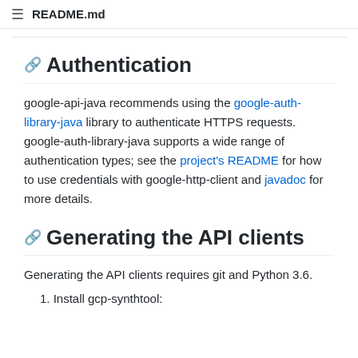≡  README.md
Authentication
google-api-java recommends using the google-auth-library-java library to authenticate HTTPS requests. google-auth-library-java supports a wide range of authentication types; see the project's README for how to use credentials with google-http-client and javadoc for more details.
Generating the API clients
Generating the API clients requires git and Python 3.6.
1. Install gcp-synthtool: